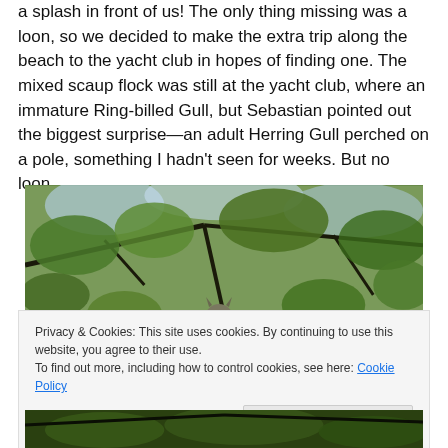a splash in front of us!  The only thing missing was a loon, so we decided to make the extra trip along the beach to the yacht club in hopes of finding one.  The mixed scaup flock was still at the yacht club, where an immature Ring-billed Gull, but Sebastian pointed out the biggest surprise—an adult Herring Gull perched on a pole, something I hadn't seen for weeks.  But no loon.
[Figure (photo): Looking up through a tree canopy with green leaves and branches; an owl is partially visible near the center-bottom of the image.]
Privacy & Cookies: This site uses cookies. By continuing to use this website, you agree to their use.
To find out more, including how to control cookies, see here: Cookie Policy
[Figure (photo): Partial view of a second photo showing dark tree branches and foliage.]